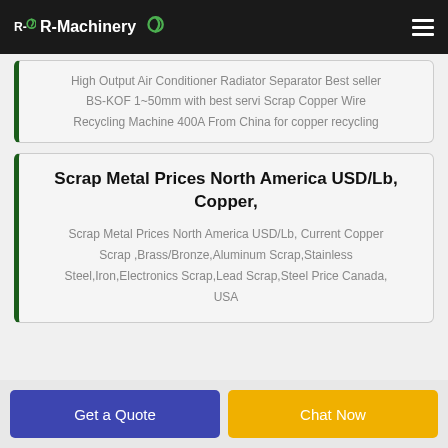R-Machinery
High Output Air Conditioner Radiator Separator Best seller BS-KOF 1~50mm with best servi Scrap Copper Wire Recycling Machine 400A From China for copper recycling
Scrap Metal Prices North America USD/Lb, Copper,
Scrap Metal Prices North America USD/Lb, Current Copper Scrap ,Brass/Bronze,Aluminum Scrap,Stainless Steel,Iron,Electronics Scrap,Lead Scrap,Steel Price Canada, USA
Get a Quote
Chat Now